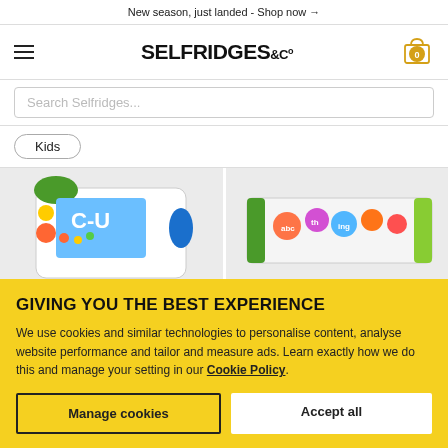New season, just landed - Shop now →
[Figure (logo): Selfridges & Co logo with hamburger menu and cart icon showing 0 items]
Search Selfridges...
Kids
[Figure (photo): Two children's educational tablet/learning device products on grey backgrounds]
GIVING YOU THE BEST EXPERIENCE
We use cookies and similar technologies to personalise content, analyse website performance and tailor and measure ads. Learn exactly how we do this and manage your setting in our Cookie Policy.
Manage cookies
Accept all